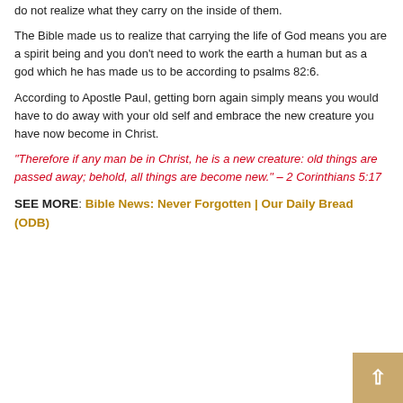do not realize what they carry on the inside of them.
The Bible made us to realize that carrying the life of God means you are a spirit being and you don't need to work the earth a human but as a god which he has made us to be according to psalms 82:6.
According to Apostle Paul, getting born again simply means you would have to do away with your old self and embrace the new creature you have now become in Christ.
“Therefore if any man be in Christ, he is a new creature: old things are passed away; behold, all things are become new.” – 2 Corinthians 5:17
SEE MORE: Bible News: Never Forgotten | Our Daily Bread (ODB)